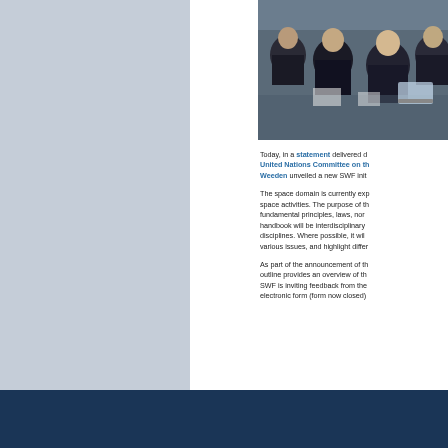[Figure (photo): Photo of people seated in what appears to be a UN committee hearing room, dark-suited figures visible]
Today, in a statement delivered during a session of the United Nations Committee on the Peaceful Uses of Outer Space, Brian Weeden unveiled a new SWF initiative...
The space domain is currently experiencing a rapid growth in space activities. The purpose of this handbook is to present the fundamental principles, laws, norms and processes... The handbook will be interdisciplinary and draw from a range of disciplines. Where possible, it will present multiple views on various issues, and highlight differ...
As part of the announcement of this initiative, the following outline provides an overview of the proposed handbook. SWF is inviting feedback from the community in electronic form (form now closed)...